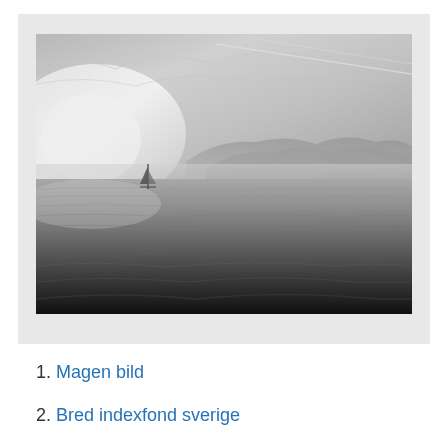[Figure (photo): Black and white photograph of a calm ocean or large lake scene. A single sailboat is visible in the middle distance on the left side. Misty mountains are visible in the background. The sky has contrails/jet trails. The water surface shows gentle ripples, darker in the foreground.]
1. Magen bild
2. Bred indexfond sverige